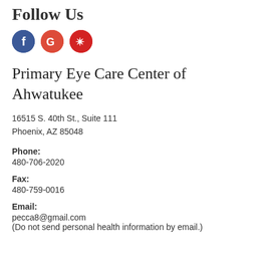Follow Us
[Figure (illustration): Three social media icon circles: Facebook (blue with 'f'), Google (red with 'G'), Yelp (red with 'y' burst icon)]
Primary Eye Care Center of Ahwatukee
16515 S. 40th St., Suite 111
Phoenix, AZ 85048
Phone:
480-706-2020
Fax:
480-759-0016
Email:
pecca8@gmail.com
(Do not send personal health information by email.)